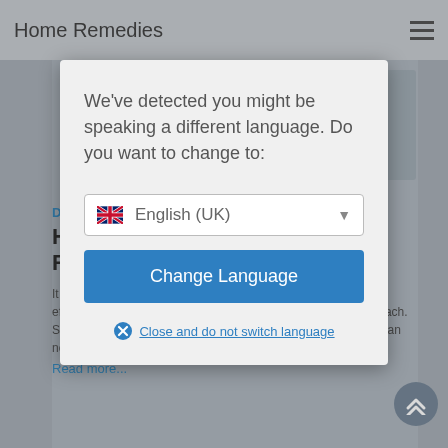Home Remedies
[Figure (screenshot): Background webpage showing article content partially obscured by modal dialog]
We've detected you might be speaking a different language. Do you want to change to:
English (UK)
Change Language
Close and do not switch language